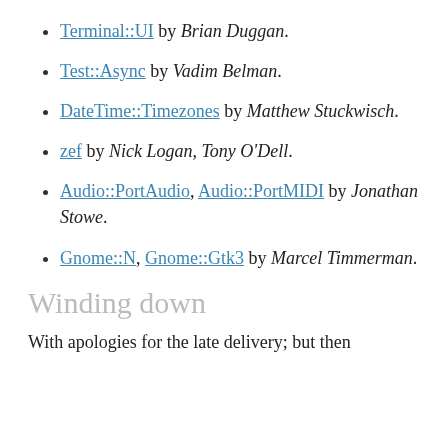Terminal::UI by Brian Duggan.
Test::Async by Vadim Belman.
DateTime::Timezones by Matthew Stuckwisch.
zef by Nick Logan, Tony O'Dell.
Audio::PortAudio, Audio::PortMIDI by Jonathan Stowe.
Gnome::N, Gnome::Gtk3 by Marcel Timmerman.
Winding down
With apologies for the late delivery; but then